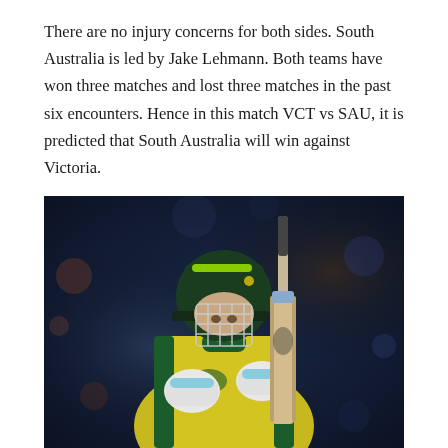There are no injury concerns for both sides. South Australia is led by Jake Lehmann. Both teams have won three matches and lost three matches in the past six encounters. Hence in this match VCT vs SAU, it is predicted that South Australia will win against Victoria.
[Figure (photo): A cricket batsman wearing an Australian green and yellow jersey with an ASICS logo, white and blue batting gloves, and a dark green helmet with a face guard, holding a cricket bat upright. The background is dark blue/bokeh crowd scene.]